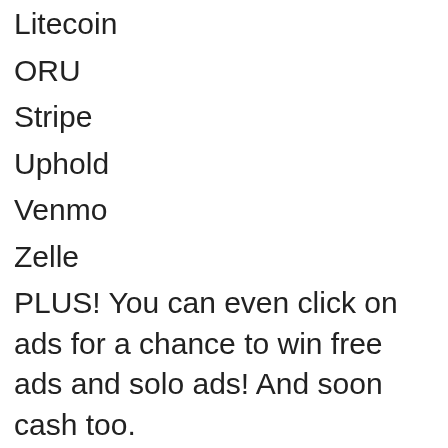Litecoin
ORU
Stripe
Uphold
Venmo
Zelle
PLUS! You can even click on ads for a chance to win free ads and solo ads! And soon cash too.
On top of that, even free members earn 50% commissions! This means you could get a direct payment starting today!
There is more to the system than what we can put here so click below to join right now and